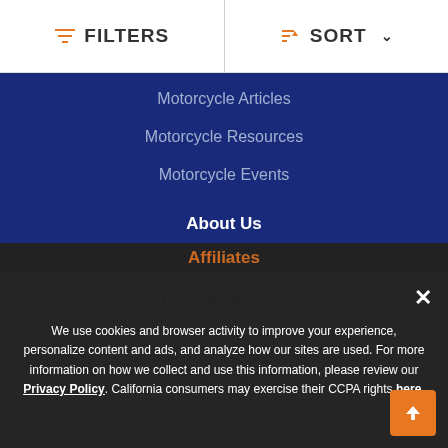FILTERS | SORT
Motorcycle Articles
Motorcycle Resources
Motorcycle Events
About Us
Contact Us
Fraud Awareness
FAQs
Sitemap
Other Sites
Classic Cars For Sale
RVs for Sale
We use cookies and browser activity to improve your experience, personalize content and ads, and analyze how our sites are used. For more information on how we collect and use this information, please review our Privacy Policy. California consumers may exercise their CCPA rights here.